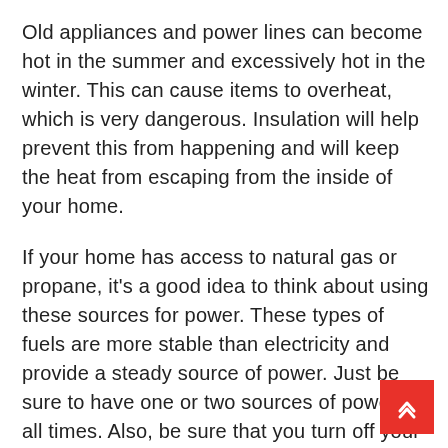Old appliances and power lines can become hot in the summer and excessively hot in the winter. This can cause items to overheat, which is very dangerous. Insulation will help prevent this from happening and will keep the heat from escaping from the inside of your home.
If your home has access to natural gas or propane, it's a good idea to think about using these sources for power. These types of fuels are more stable than electricity and provide a steady source of power. Just be sure to have one or two sources of power at all times. Also, be sure that you turn off your appliances at the end of the day, so that there is no residual current leftover when you return from your vacation.
These are some of the basic tips for avoiding